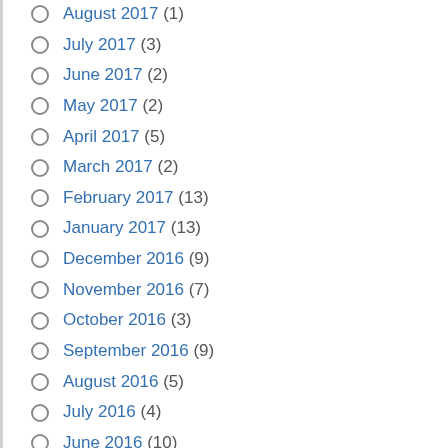August 2017 (1)
July 2017 (3)
June 2017 (2)
May 2017 (2)
April 2017 (5)
March 2017 (2)
February 2017 (13)
January 2017 (13)
December 2016 (9)
November 2016 (7)
October 2016 (3)
September 2016 (9)
August 2016 (5)
July 2016 (4)
June 2016 (10)
May 2016 (35)
April 2016 (14)
March 2016 (14)
February 2016 (93)
January 2016 (203)